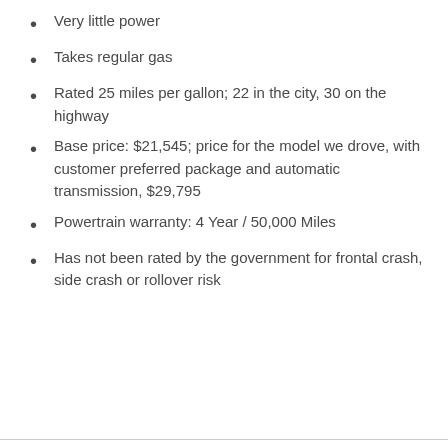Very little power
Takes regular gas
Rated 25 miles per gallon; 22 in the city, 30 on the highway
Base price: $21,545; price for the model we drove, with customer preferred package and automatic transmission, $29,795
Powertrain warranty: 4 Year / 50,000 Miles
Has not been rated by the government for frontal crash, side crash or rollover risk